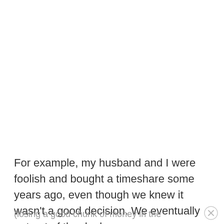For example, my husband and I were foolish and bought a timeshare some years ago, even though we knew it wasn't a good decision. We eventually got out of the deal (losing a good chunk of money in the process).